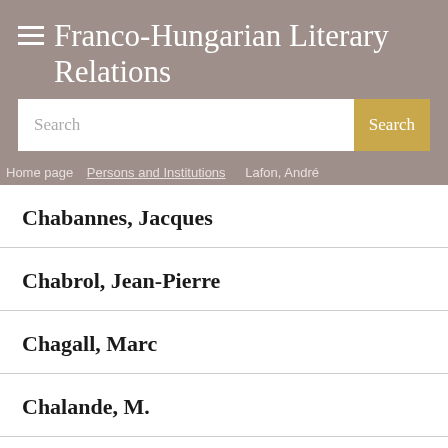Franco-Hungarian Literary Relations
Search
Home page > Persons and Institutions > Lafon, André
Chabannes, Jacques
Chabrol, Jean-Pierre
Chagall, Marc
Chalande, M.